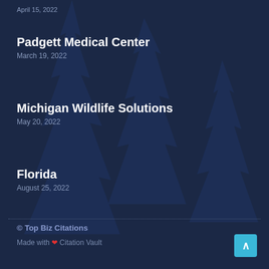April 15, 2022
Padgett Medical Center
March 19, 2022
Michigan Wildlife Solutions
May 20, 2022
Florida
August 25, 2022
© Top Biz Citations
Made with ❤ Citation Vault